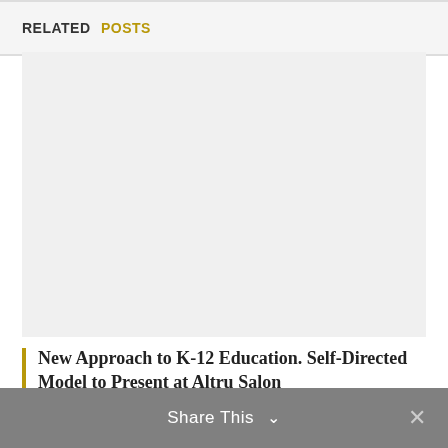RELATED POSTS
[Figure (photo): Blank light gray image area representing a related post thumbnail]
New Approach to K-12 Education. Self-Directed Model to Present at Altru Salon
Share This ∨  ✕